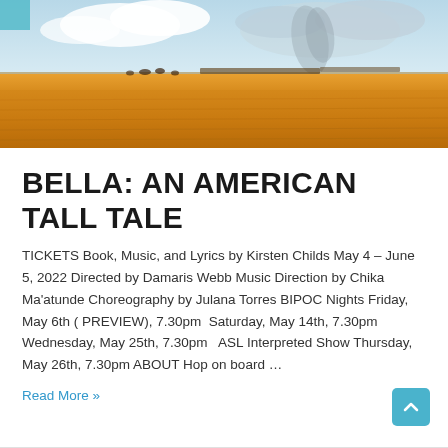[Figure (illustration): A wide landscape painting showing golden wheat fields under a cloudy sky with smoke or dust rising in the background, and small figures of animals or birds in the mid-ground.]
BELLA: AN AMERICAN TALL TALE
TICKETS Book, Music, and Lyrics by Kirsten Childs May 4 – June 5, 2022 Directed by Damaris Webb Music Direction by Chika Ma'atunde Choreography by Julana Torres BIPOC Nights Friday, May 6th ( PREVIEW), 7.30pm  Saturday, May 14th, 7.30pm  Wednesday, May 25th, 7.30pm   ASL Interpreted Show Thursday, May 26th, 7.30pm ABOUT Hop on board …
Read More »